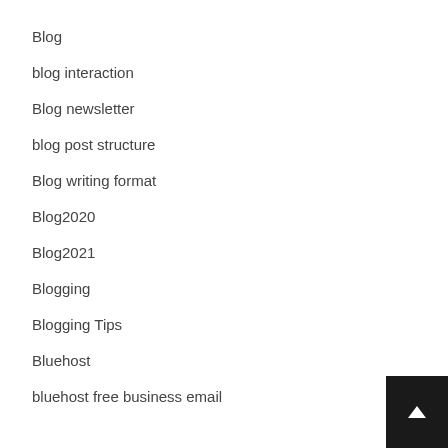Blog
blog interaction
Blog newsletter
blog post structure
Blog writing format
Blog2020
Blog2021
Blogging
Blogging Tips
Bluehost
bluehost free business email